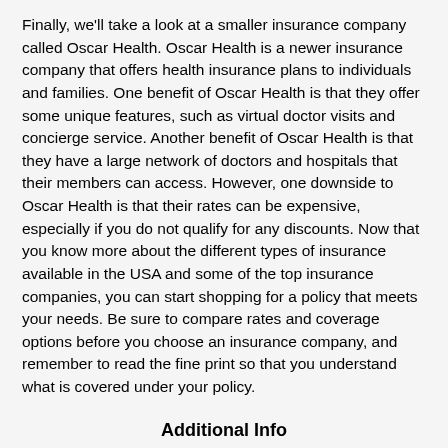Finally, we'll take a look at a smaller insurance company called Oscar Health. Oscar Health is a newer insurance company that offers health insurance plans to individuals and families. One benefit of Oscar Health is that they offer some unique features, such as virtual doctor visits and concierge service. Another benefit of Oscar Health is that they have a large network of doctors and hospitals that their members can access. However, one downside to Oscar Health is that their rates can be expensive, especially if you do not qualify for any discounts. Now that you know more about the different types of insurance available in the USA and some of the top insurance companies, you can start shopping for a policy that meets your needs. Be sure to compare rates and coverage options before you choose an insurance company, and remember to read the fine print so that you understand what is covered under your policy.
Additional Info
There are many different types of insurance available in the USA, and it can be difficult to know which one is right for you. Health insurance is one type of insurance that is required by law in the USA, and it can provide financial protection in the event of an unexpected illness or injury. Life insurance is another type of insurance that can provide peace of mind to both the policyholder and their loved ones. However, there are some drawbacks to life insurance as well. One downside is that life insurance policies can be expensive, especially if you are young and healthy.